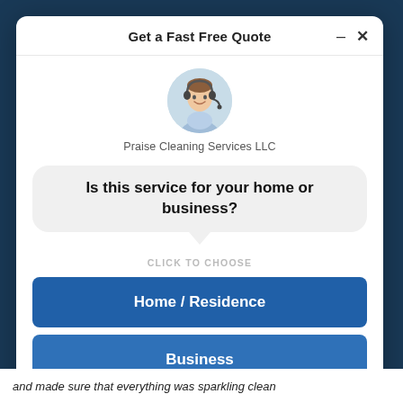Get a Fast Free Quote
Praise Cleaning Services LLC
Is this service for your home or business?
CLICK TO CHOOSE
Home / Residence
Business
2,130 people requested a quote!
and made sure that everything was sparkling clean